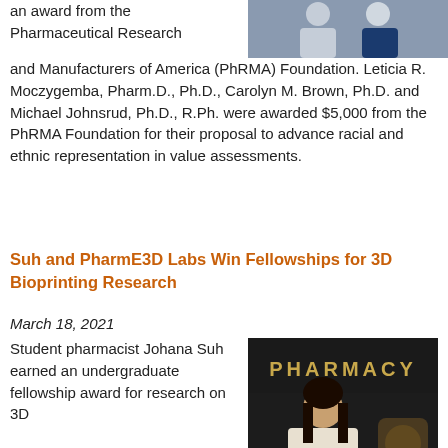an award from the Pharmaceutical Research and Manufacturers of America (PhRMA) Foundation. Leticia R. Moczygemba, Pharm.D., Ph.D., Carolyn M. Brown, Ph.D. and Michael Johnsrud, Ph.D., R.Ph. were awarded $5,000 from the PhRMA Foundation for their proposal to advance racial and ethnic representation in value assessments.
[Figure (photo): Photo of two people, partially visible at top right of page]
Suh and PharmE3D Labs Win Fellowships for 3D Bioprinting Research
March 18, 2021
[Figure (photo): Photo of student pharmacist Johana Suh standing in front of a PHARMACY sign]
Student pharmacist Johana Suh earned an undergraduate fellowship award for research on 3D bioprinted modeling of the neurodegenerative disease NPC-1, or Niemann-Pick disease type C1. Suh is a second-year Doctor of Pharmacy candidate in the UT College of Pharmacy, and serves as an undergraduate